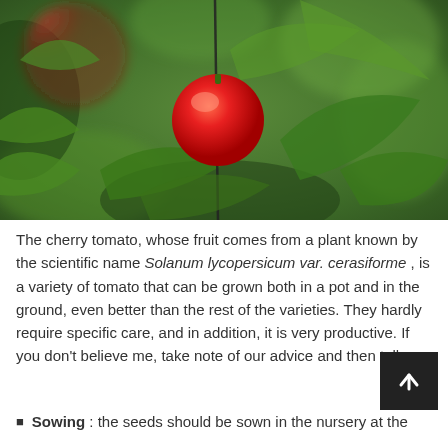[Figure (photo): Close-up photograph of a red cherry tomato on the vine surrounded by green tomato plant leaves, with another red tomato visible blurred in the upper left background.]
The cherry tomato, whose fruit comes from a plant known by the scientific name Solanum lycopersicum var. cerasiforme , is a variety of tomato that can be grown both in a pot and in the ground, even better than the rest of the varieties. They hardly require specific care, and in addition, it is very productive. If you don't believe me, take note of our advice and then tell me
Sowing : the seeds should be sown in the nursery at the